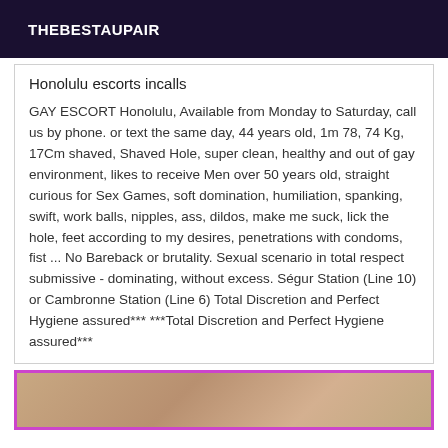THEBESTAUPAIR
Honolulu escorts incalls
GAY ESCORT Honolulu, Available from Monday to Saturday, call us by phone. or text the same day, 44 years old, 1m 78, 74 Kg, 17Cm shaved, Shaved Hole, super clean, healthy and out of gay environment, likes to receive Men over 50 years old, straight curious for Sex Games, soft domination, humiliation, spanking, swift, work balls, nipples, ass, dildos, make me suck, lick the hole, feet according to my desires, penetrations with condoms, fist ... No Bareback or brutality. Sexual scenario in total respect submissive - dominating, without excess. Ségur Station (Line 10) or Cambronne Station (Line 6) Total Discretion and Perfect Hygiene assured*** ***Total Discretion and Perfect Hygiene assured***
[Figure (photo): Partial photo of a person, cropped, shown at bottom of page with a pink/purple border frame]